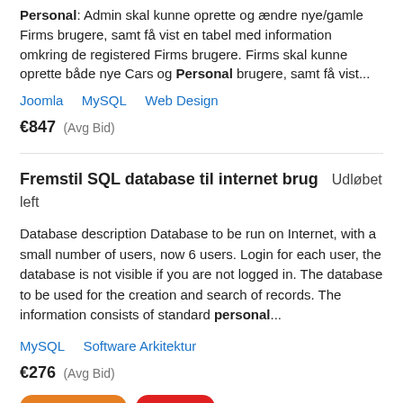Personal: Admin skal kunne oprette og ændre nye/gamle Firms brugere, samt få vist en tabel med information omkring de registered Firms brugere. Firms skal kunne oprette både nye Cars og Personal brugere, samt få vist...
Joomla   MySQL   Web Design
€847  (Avg Bid)
Fremstil SQL database til internet brug   Udløbet left
Database description Database to be run on Internet, with a small number of users, now 6 users. Login for each user, the database is not visible if you are not logged in. The database to be used for the creation and search of records. The information consists of standard personal...
MySQL   Software Arkitektur
€276  (Avg Bid)
FREMHÆVET   HASTER